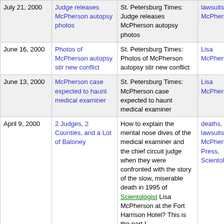| Date | Title | Description | Tags |
| --- | --- | --- | --- |
| July 21, 2000 | Judge releases McPherson autopsy photos | St. Petersburg Times: Judge releases McPherson autopsy photos | lawsuits, Lisa McPherson |
| June 16, 2000 | Photos of McPherson autopsy stir new conflict | St. Petersburg Times: Photos of McPherson autopsy stir new conflict | Lisa McPherson |
| June 13, 2000 | McPherson case expected to haunt medical examiner | St. Petersburg Times: McPherson case expected to haunt medical examiner | Lisa McPherson |
| April 9, 2000 | 2 Judges, 2 Counties, and a Lot of Baloney | How to explain the mental nose dives of the medical examiner and the chief circuit judge when they were confronted with the story of the slow, miserable death in 1995 of Scientologist Lisa McPherson at the Fort Harrison Hotel? This is the part I... | deaths, lawsuits, Lisa McPherson, Press, Scientology |